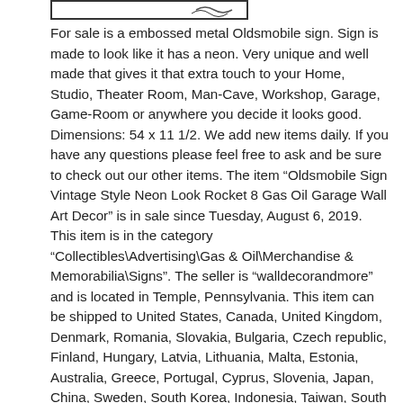[Figure (other): Partial image at top of page showing a decorative sign or banner with partial text visible]
For sale is a embossed metal Oldsmobile sign. Sign is made to look like it has a neon. Very unique and well made that gives it that extra touch to your Home, Studio, Theater Room, Man-Cave, Workshop, Garage, Game-Room or anywhere you decide it looks good. Dimensions: 54 x 11 1/2. We add new items daily. If you have any questions please feel free to ask and be sure to check out our other items. The item “Oldsmobile Sign Vintage Style Neon Look Rocket 8 Gas Oil Garage Wall Art Decor” is in sale since Tuesday, August 6, 2019. This item is in the category “Collectibles\Advertising\Gas & Oil\Merchandise & Memorabilia\Signs”. The seller is “walldecorandmore” and is located in Temple, Pennsylvania. This item can be shipped to United States, Canada, United Kingdom, Denmark, Romania, Slovakia, Bulgaria, Czech republic, Finland, Hungary, Latvia, Lithuania, Malta, Estonia, Australia, Greece, Portugal, Cyprus, Slovenia, Japan, China, Sweden, South Korea, Indonesia, Taiwan, South africa, Thailand, Belgium, France, Hong Kong, Ireland, Netherlands, Poland, Spain, Italy, Germany, Austria, Bahamas, Israel, Mexico, New Zealand, Philippines, Singapore, Switzerland, Norway, Saudi arabia, Ukraine, United arab emirates, Qatar, Kuwait, Bahrain, Croatia, Malaysia, Brazil, Chile, Colombia, Costa rica